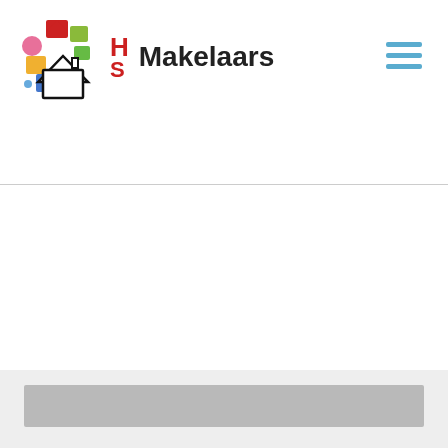HS Makelaars
[Figure (logo): HS Makelaars logo with colorful house silhouettes and HS letters in red, with 'Makelaars' text in bold black. Hamburger menu icon in blue on the right.]